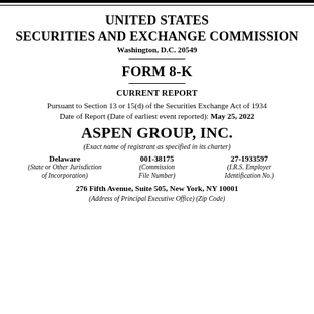UNITED STATES SECURITIES AND EXCHANGE COMMISSION Washington, D.C. 20549
FORM 8-K
CURRENT REPORT
Pursuant to Section 13 or 15(d) of the Securities Exchange Act of 1934
Date of Report (Date of earliest event reported): May 25, 2022
ASPEN GROUP, INC.
(Exact name of registrant as specified in its charter)
| State or Other Jurisdiction of Incorporation | Commission File Number | I.R.S. Employer Identification No. |
| --- | --- | --- |
| Delaware | 001-38175 | 27-1933597 |
276 Fifth Avenue, Suite 505, New York, NY 10001
(Address of Principal Executive Office) (Zip Code)